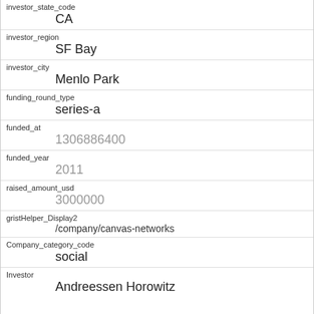| Field | Value |
| --- | --- |
| investor_state_code | CA |
| investor_region | SF Bay |
| investor_city | Menlo Park |
| funding_round_type | series-a |
| funded_at | 1306886400 |
| funded_year | 2011 |
| raised_amount_usd | 3000000 |
| gristHelper_Display2 | /company/canvas-networks |
| Company_category_code | social |
| Investor | Andreessen Horowitz |